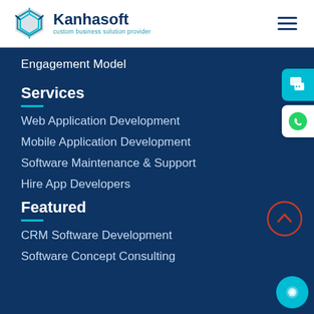[Figure (logo): Kanhasoft logo with hexagonal icon and tagline 'custom business solution provider']
Engagement Model
Services
Web Application Development
Mobile Application Development
Software Maintenance & Support
Hire App Developers
Featured
CRM Software Development
Software Concept Consulting